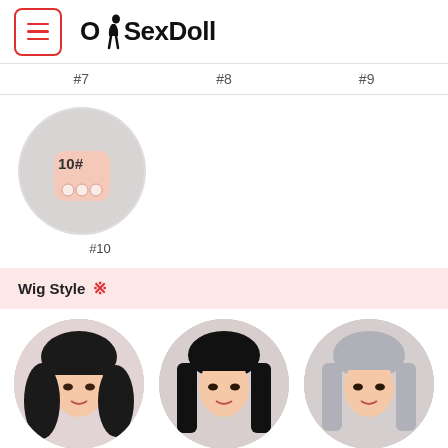OkSexDoll
#7   #8   #9
[Figure (photo): Circular thumbnail showing nail option #10, a pale peach/skin-tone nail shape on grey background, labeled 10# in top left]
#10
Wig Style ※
[Figure (photo): Three circular wig style thumbnails showing doll heads: first with long wavy black hair, second with straight long black hair, third with silver/grey straight hair]
Wig style options row